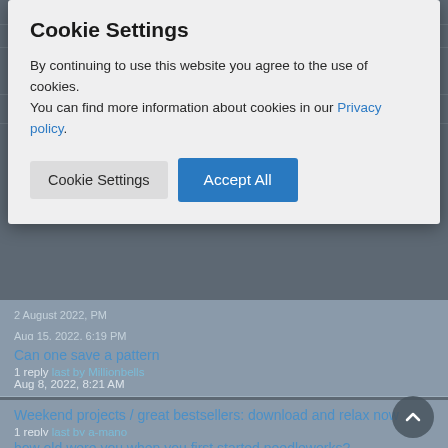[Figure (screenshot): Cookie consent modal dialog overlaid on a forum/discussion website. The modal contains a title 'Cookie Settings', descriptive text about cookie usage with a Privacy policy link, and two buttons: 'Cookie Settings' and 'Accept All'. Behind the modal, blurred forum thread listing is visible.]
By continuing to use this website you agree to the use of cookies.
You can find more information about cookies in our Privacy policy.
Cookie Settings
Accept All
Can one save a pattern
1 reply last by Millionbells
Aug 8, 2022, 8:21 AM
Weekend projects / great bestsellers: download and relax now
1 reply last by a-mano
Aug 6, 2022, 4:41 PM
how old were you when you first started needleworks?